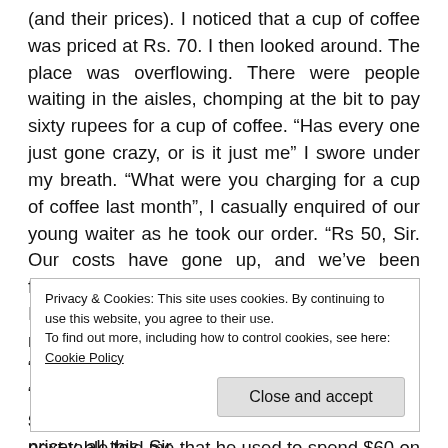(and their prices). I noticed that a cup of coffee was priced at Rs. 70. I then looked around. The place was overflowing. There were people waiting in the aisles, chomping at the bit to pay sixty rupees for a cup of coffee. “Has every one just gone crazy, or is it just me” I swore under my breath. “What were you charging for a cup of coffee last month”, I casually enquired of our young waiter as he took our order. “Rs 50, Sir. Our costs have gone up, and we’ve been forced to raise our charges”, he replied politely. I looked closely to see if I could spot any resemblance between him and my barber. “Costs. What costs?” I protested feebly. “People don’t have time to think about all this, Sir. They just pay up. The gentleman at the next table told me that he used to spend $60 on a meal in California. Here, he’s happy to spend $30”, he
Privacy & Cookies: This site uses cookies. By continuing to use this website, you agree to their use.
To find out more, including how to control cookies, see here: Cookie Policy
Close and accept
stores on the road and “Is it becoming too pricey, all this, Sir.